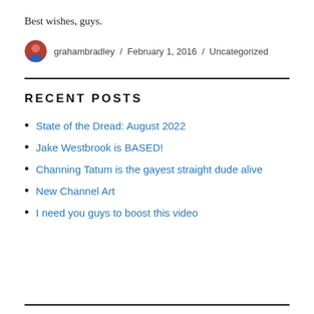Best wishes, guys.
grahambradley / February 1, 2016 / Uncategorized
RECENT POSTS
State of the Dread: August 2022
Jake Westbrook is BASED!
Channing Tatum is the gayest straight dude alive
New Channel Art
I need you guys to boost this video